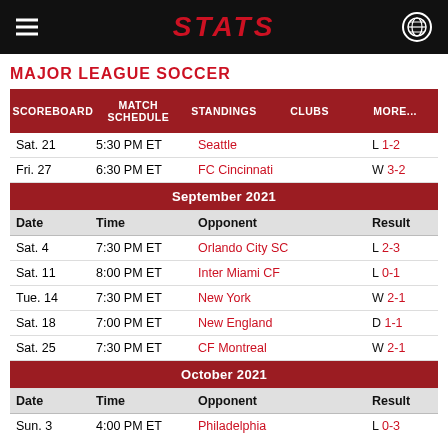STATS
MAJOR LEAGUE SOCCER
| SCOREBOARD | MATCH SCHEDULE | STANDINGS | CLUBS | MORE... |
| --- | --- | --- | --- | --- |
| Date | Time | Opponent | Result |
| --- | --- | --- | --- |
| Sat. 21 | 5:30 PM ET | Seattle | L 1-2 |
| Fri. 27 | 6:30 PM ET | FC Cincinnati | W 3-2 |
| September 2021 |  |  |  |
| Date | Time | Opponent | Result |
| Sat. 4 | 7:30 PM ET | Orlando City SC | L 2-3 |
| Sat. 11 | 8:00 PM ET | Inter Miami CF | L 0-1 |
| Tue. 14 | 7:30 PM ET | New York | W 2-1 |
| Sat. 18 | 7:00 PM ET | New England | D 1-1 |
| Sat. 25 | 7:30 PM ET | CF Montreal | W 2-1 |
| October 2021 |  |  |  |
| Date | Time | Opponent | Result |
| Sun. 3 | 4:00 PM ET | Philadelphia | L 0-3 |